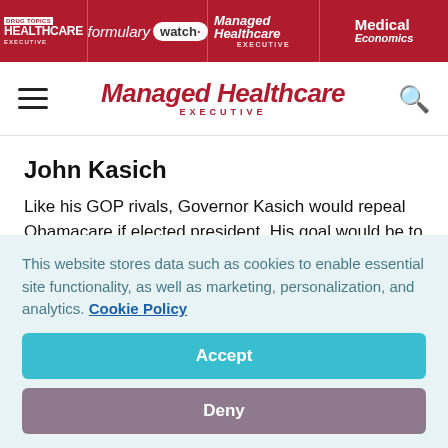HEALTHCARE EXECUTIVE | formulary watch | Managed Healthcare EXECUTIVE | Medical Economics
Managed Healthcare EXECUTIVE
John Kasich
Like his GOP rivals, Governor Kasich would repeal Obamacare if elected president. His goal would be to improve access by lowering healthcare costs while returning control of
This website stores data such as cookies to enable essential site functionality, as well as marketing, personalization, and analytics. Cookie Policy
Accept
Deny